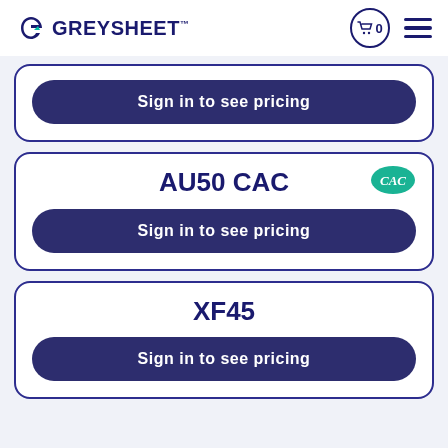GREYSHEET
Sign in to see pricing
AU50 CAC
Sign in to see pricing
XF45
Sign in to see pricing